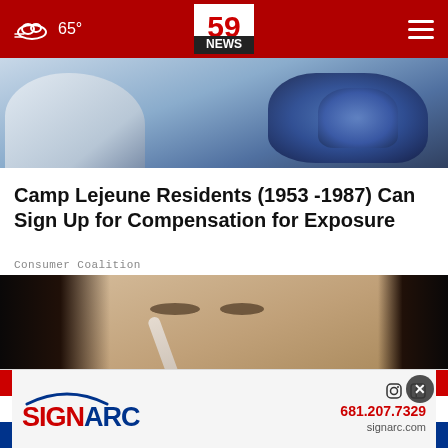65° | 59 NEWS
[Figure (photo): Close-up of gloved hands holding medical/lab specimen, blue nitrile gloves and white coat visible]
Camp Lejeune Residents (1953 -1987) Can Sign Up for Compensation for Exposure
Consumer Coalition
[Figure (photo): Close-up portrait of a young woman with dark hair holding a nasal swab to her nostril]
[Figure (logo): SIGNARC advertisement banner with phone number 681.207.7329 and signarc.com, Instagram and Facebook icons]